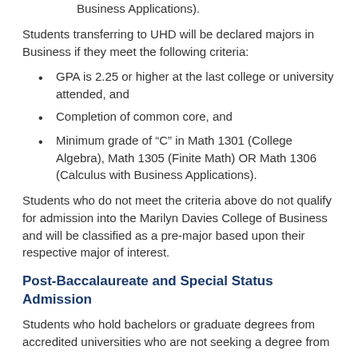Business Applications).
Students transferring to UHD will be declared majors in Business if they meet the following criteria:
GPA is 2.25 or higher at the last college or university attended, and
Completion of common core, and
Minimum grade of “C” in Math 1301 (College Algebra), Math 1305 (Finite Math) OR Math 1306 (Calculus with Business Applications).
Students who do not meet the criteria above do not qualify for admission into the Marilyn Davies College of Business and will be classified as a pre-major based upon their respective major of interest.
Post-Baccalaureate and Special Status Admission
Students who hold bachelors or graduate degrees from accredited universities who are not seeking a degree from